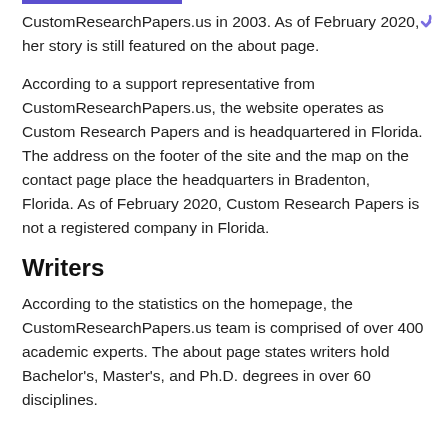CustomResearchPapers.us in 2003. As of February 2020, her story is still featured on the about page.
According to a support representative from CustomResearchPapers.us, the website operates as Custom Research Papers and is headquartered in Florida. The address on the footer of the site and the map on the contact page place the headquarters in Bradenton, Florida. As of February 2020, Custom Research Papers is not a registered company in Florida.
Writers
According to the statistics on the homepage, the CustomResearchPapers.us team is comprised of over 400 academic experts. The about page states writers hold Bachelor's, Master's, and Ph.D. degrees in over 60 disciplines.